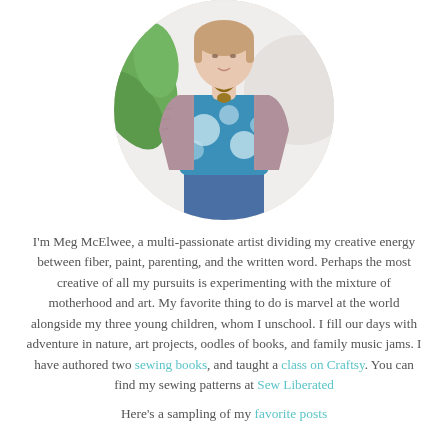[Figure (photo): Circular cropped photo of a woman wearing a blue floral top and lavender cardigan with a wooden necklace, standing in front of a light background with a green plant visible on the left.]
I'm Meg McElwee, a multi-passionate artist dividing my creative energy between fiber, paint, parenting, and the written word. Perhaps the most creative of all my pursuits is experimenting with the mixture of motherhood and art. My favorite thing to do is marvel at the world alongside my three young children, whom I unschool. I fill our days with adventure in nature, art projects, oodles of books, and family music jams. I have authored two sewing books, and taught a class on Craftsy. You can find my sewing patterns at Sew Liberated
Here's a sampling of my favorite posts